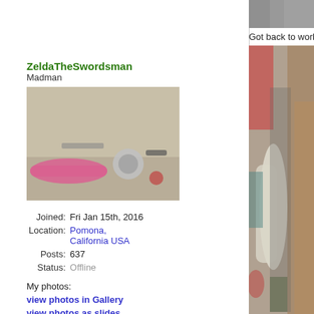[Figure (photo): Top cropped photo strip at upper right, barely visible]
Got back to working on the scratchbuilt tender finally. One b
ZeldaTheSwordsman
Madman
[Figure (photo): Avatar photo showing tools/instruments with pink wrapping on a workbench]
Joined: Fri Jan 15th, 2016
Location: Pomona, California USA
Posts: 637
Status: Offline
My photos:
view photos in Gallery
view photos as slides
[Figure (photo): Large blurred workshop photo showing tools, objects, and a hand/arm, right side of page]